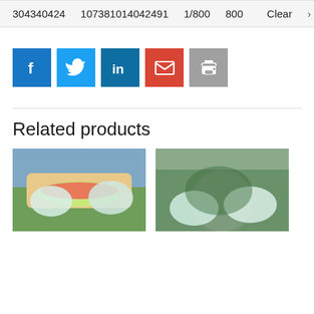304340424   107381014042491/800   800   Clear  >
[Figure (screenshot): Row of social share buttons: Facebook (dark blue), Twitter (light blue), LinkedIn (dark teal blue), Email (red), Print (gray)]
Related products
[Figure (photo): Gloved hands assembling a burger with lettuce and tomato]
[Figure (photo): Gloved hands tossing a salad in a metal bowl]